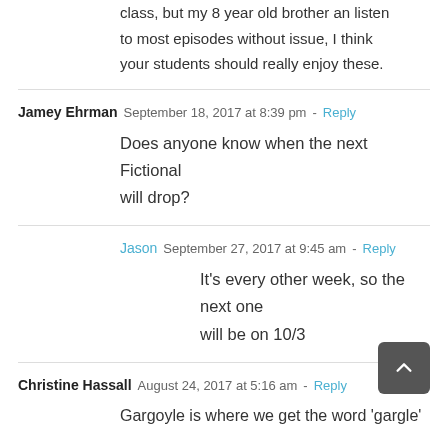class, but my 8 year old brother an listen to most episodes without issue, I think your students should really enjoy these.
Jamey Ehrman  September 18, 2017 at 8:39 pm - Reply
Does anyone know when the next Fictional will drop?
Jason  September 27, 2017 at 9:45 am - Reply
It's every other week, so the next one will be on 10/3
Christine Hassall  August 24, 2017 at 5:16 am - Reply
Gargoyle is where we get the word 'gargle'